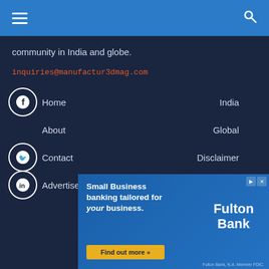Navigation bar with hamburger menu and search icon
community in India and globe.
inquiries@manufactur3dmag.com
Home
India
About
Global
Contact
Disclaimer
Advertise
Privacy Policy
[Figure (infographic): Advertisement for Fulton Bank: Small Business banking tailored for your business. Find out more button. Fulton Bank logo. Fulton Bank, N.A. Member FDIC.]